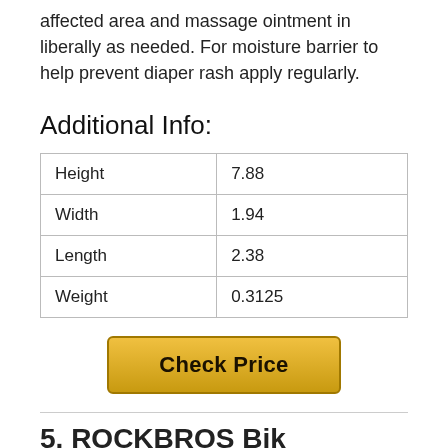affected area and massage ointment in liberally as needed. For moisture barrier to help prevent diaper rash apply regularly.
Additional Info:
| Height | 7.88 |
| Width | 1.94 |
| Length | 2.38 |
| Weight | 0.3125 |
[Figure (other): Check Price button - golden/yellow styled button]
5. ROCKBROS Bik...